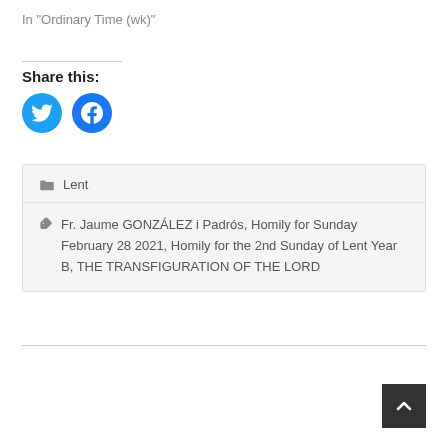In "Ordinary Time (wk)"
Share this:
[Figure (other): Twitter and Facebook social share icon buttons (blue circles with bird and f logos)]
Lent
Fr. Jaume GONZÁLEZ i Padrós, Homily for Sunday February 28 2021, Homily for the 2nd Sunday of Lent Year B, THE TRANSFIGURATION OF THE LORD
[Figure (other): Back to top button — dark square with upward chevron arrow]